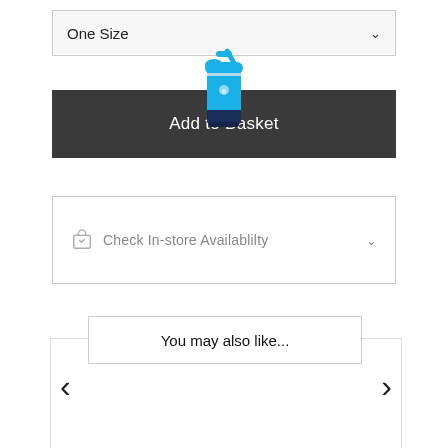One Size
Add to Basket
Check In-store Availablilty
You may also like...
[Figure (photo): Blue 12oz Wide Mouth Kids Bottle with straw lid by Hydroflask, shown against white background]
12oz Wide Mouth Kids Bottle
£27.00 £21.60